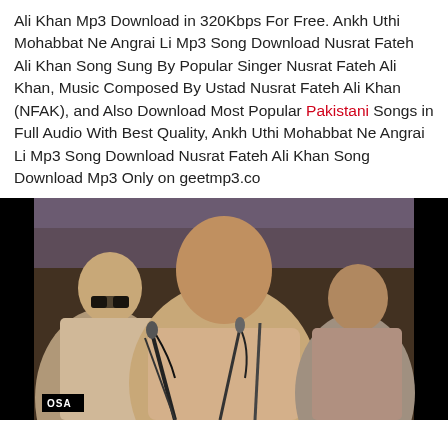Ali Khan Mp3 Download in 320Kbps For Free. Ankh Uthi Mohabbat Ne Angrai Li Mp3 Song Download Nusrat Fateh Ali Khan Song Sung By Popular Singer Nusrat Fateh Ali Khan, Music Composed By Ustad Nusrat Fateh Ali Khan (NFAK), and Also Download Most Popular Pakistani Songs in Full Audio With Best Quality, Ankh Uthi Mohabbat Ne Angrai Li Mp3 Song Download Nusrat Fateh Ali Khan Song Download Mp3 Only on geetmp3.co
[Figure (photo): A grainy video screenshot showing Nusrat Fateh Ali Khan and other musicians seated with microphones in front of them. OSA watermark visible at bottom left. The image has black bars on left and right sides.]